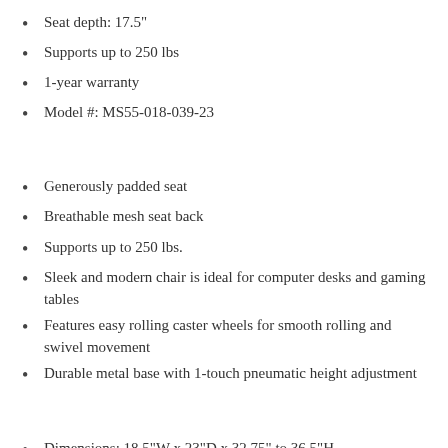Seat depth: 17.5"
Supports up to 250 lbs
1-year warranty
Model #: MS55-018-039-23
Generously padded seat
Breathable mesh seat back
Supports up to 250 lbs.
Sleek and modern chair is ideal for computer desks and gaming tables
Features easy rolling caster wheels for smooth rolling and swivel movement
Durable metal base with 1-touch pneumatic height adjustment
Dimensions: 18.5"W x 23"D x 32.75" to 36.5"H
Seat height: 16.75"